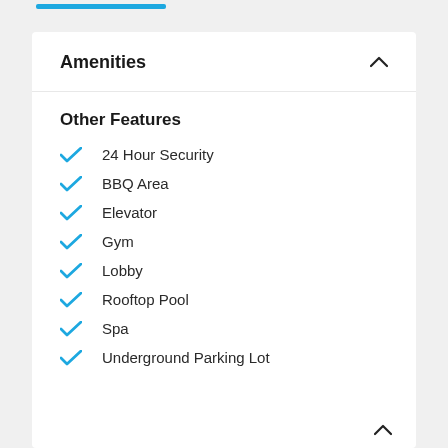Amenities
Other Features
24 Hour Security
BBQ Area
Elevator
Gym
Lobby
Rooftop Pool
Spa
Underground Parking Lot